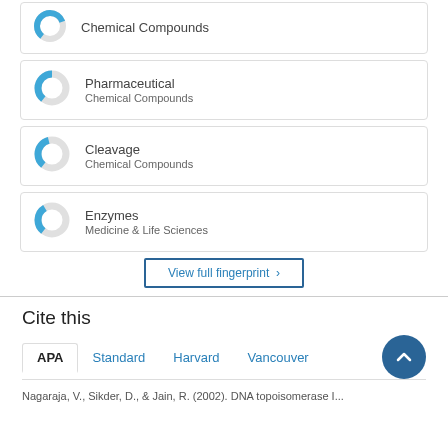[Figure (donut-chart): Pharmaceutical Chemical Compounds donut chart, approximately 40% filled blue]
Pharmaceutical
Chemical Compounds
[Figure (donut-chart): Cleavage Chemical Compounds donut chart, approximately 35% filled blue]
Cleavage
Chemical Compounds
[Figure (donut-chart): Enzymes Medicine & Life Sciences donut chart, approximately 30% filled blue]
Enzymes
Medicine & Life Sciences
View full fingerprint >
Cite this
APA  Standard  Harvard  Vancouver
Nagaraja, V., Sikder, D., & Jain, R. (2002). DNA topoisomerase I...